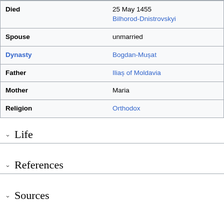| Field | Value |
| --- | --- |
| Died | 25 May 1455
Bilhorod-Dnistrovskyi |
| Spouse | unmarried |
| Dynasty | Bogdan-Mușat |
| Father | Iliaș of Moldavia |
| Mother | Maria |
| Religion | Orthodox |
Life
References
Sources